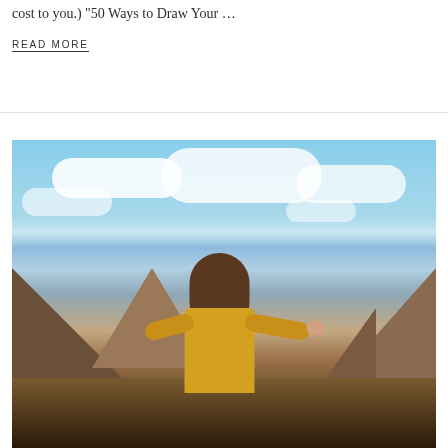cost to you.)  "50 Ways to Draw Your …
READ MORE
[Figure (photo): A woman with long hair seen from behind, arms outstretched, wearing a yellow plaid shirt, standing before a dramatic mountain landscape with rocky cliffs and a bright blue sky with white clouds.]